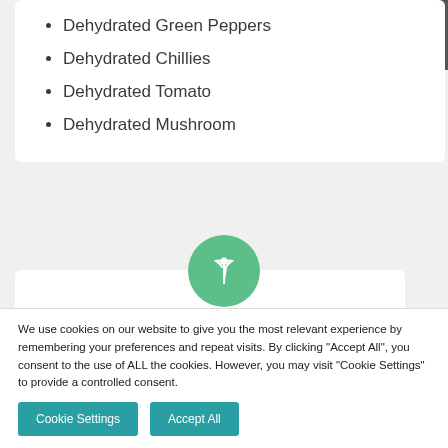Dehydrated Green Peppers
Dehydrated Chillies
Dehydrated Tomato
Dehydrated Mushroom
[Figure (illustration): Green circular icon with a white plant/leaf symbol]
Ambient Ingredients
We use cookies on our website to give you the most relevant experience by remembering your preferences and repeat visits. By clicking "Accept All", you consent to the use of ALL the cookies. However, you may visit "Cookie Settings" to provide a controlled consent.